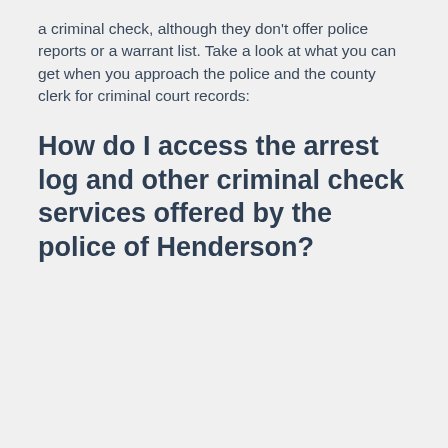a criminal check, although they don't offer police reports or a warrant list. Take a look at what you can get when you approach the police and the county clerk for criminal court records:
How do I access the arrest log and other criminal check services offered by the police of Henderson?